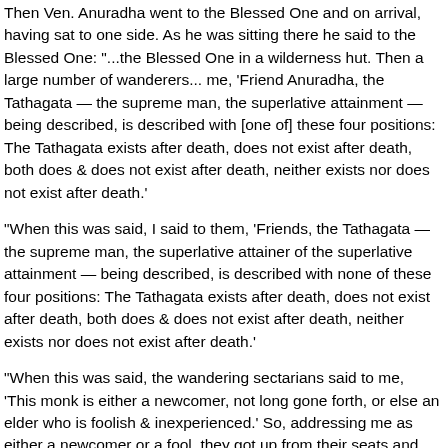Then Ven. Anuradha went to the Blessed One and on arrival, having sat to one side. As he was sitting there he said to the Blessed One: "...the Blessed One in a wilderness hut. Then a large number of wanderers... me, 'Friend Anuradha, the Tathagata — the supreme man, the superlative attainment — being described, is described with [one of] these four positions: The Tathagata exists after death, does not exist after death, both does & does not exist after death, neither exists nor does not exist after death.'
"When this was said, I said to them, 'Friends, the Tathagata — the supreme man, the superlative attainer of the superlative attainment — being described, is described with none of these four positions: The Tathagata exists after death, does not exist after death, both does & does not exist after death, neither exists nor does not exist after death.'
"When this was said, the wandering sectarians said to me, 'This monk is either a newcomer, not long gone forth, or else an elder who is foolish & inexperienced.' So, addressing me as either a newcomer or a fool, they got up from their seats and left.
"Then not long after the wandering sectarians had left, this thought occurred to me: 'If I am asked again by those wandering sectarians, how will I answer in such a way that I say what the Blessed One has said, will not misrepresent the Blessed One with what is contrary to fact, will answer in line with the Dhamma, and no one whose thinking is in line with the Dhamma will have grounds for criticizing me?'"
"What do you think, Anuradha: Is form constant or inconstant?"